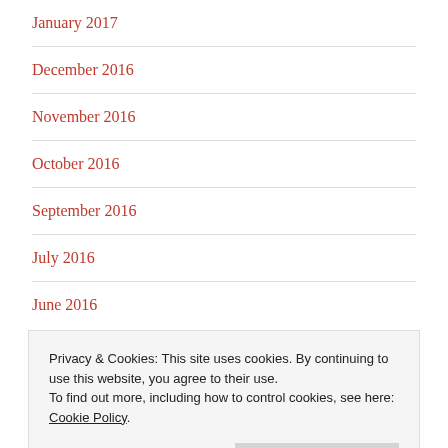January 2017
December 2016
November 2016
October 2016
September 2016
July 2016
June 2016
Privacy & Cookies: This site uses cookies. By continuing to use this website, you agree to their use.
To find out more, including how to control cookies, see here: Cookie Policy
March 2016